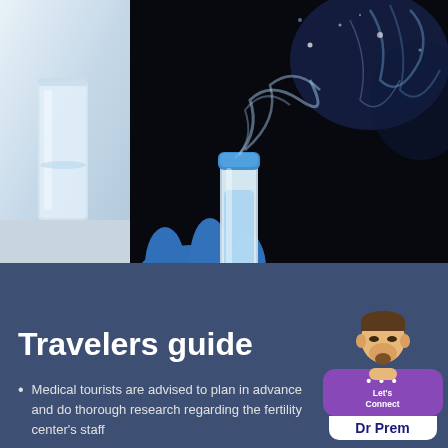[Figure (photo): Two photos: left shows a glass of water on a white surface (medical/lab setting); right shows a gloved hand holding a cryogenic vial/test tube with blue cap, emitting smoke/vapor against dark background]
Travelers guide
Medical tourists are advised to plan in advance and do thorough research regarding the fertility center's staff
[Figure (logo): Dr Prem logo with avatar cartoon figure, purple speech bubble with 'Let's Connect' text and dots, white banner with 'Dr Prem' text in blue]